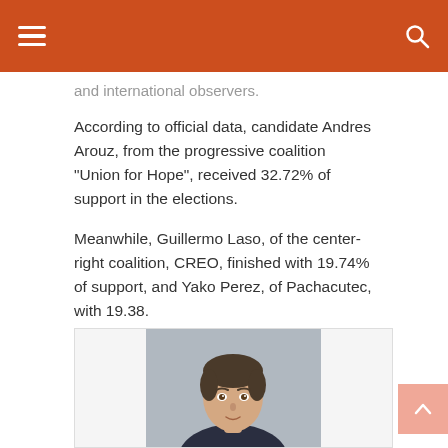and international observers.
According to official data, candidate Andres Arouz, from the progressive coalition "Union for Hope", received 32.72% of support in the elections.
Meanwhile, Guillermo Laso, of the center-right coalition, CREO, finished with 19.74% of support, and Yako Perez, of Pachacutec, with 19.38.
For this reason, the president of Ecuador will be decided in the ballot scheduled for April 11th, between Aruz and Laso, who received the most votes.
JCM / IFB
[Figure (photo): Headshot photo of a young man with short dark hair, looking slightly downward]